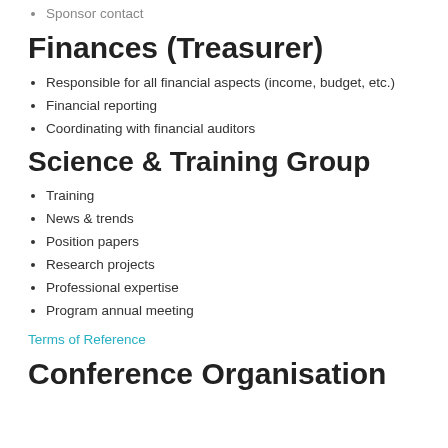Sponsor contact
Finances (Treasurer)
Responsible for all financial aspects (income, budget, etc.)
Financial reporting
Coordinating with financial auditors
Science & Training Group
Training
News & trends
Position papers
Research projects
Professional expertise
Program annual meeting
Terms of Reference
Conference Organisation